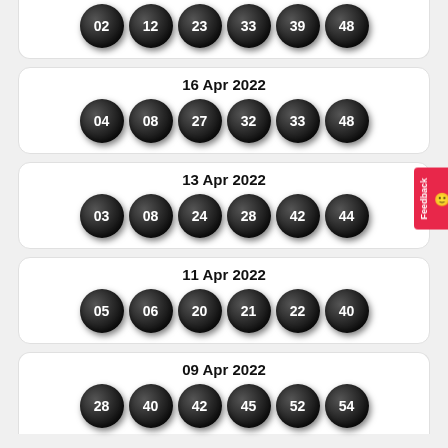[Figure (other): Partial lottery card showing balls: 02, 12, 23, 33, 39, 48]
[Figure (other): Lottery draw 16 Apr 2022 with balls: 04, 08, 27, 32, 33, 48]
[Figure (other): Lottery draw 13 Apr 2022 with balls: 03, 08, 24, 28, 42, 44]
[Figure (other): Lottery draw 11 Apr 2022 with balls: 05, 06, 20, 21, 22, 40]
[Figure (other): Partial lottery card 09 Apr 2022 with balls: 28, 40, 42, 45, 52, 54]